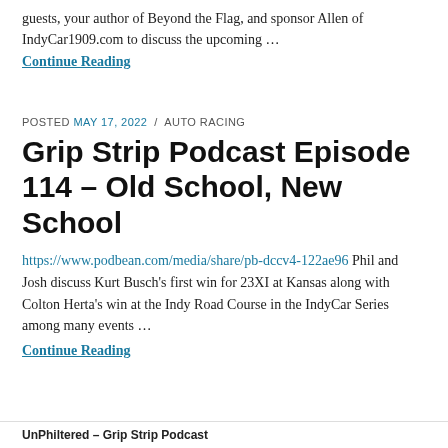guests, your author of Beyond the Flag, and sponsor Allen of IndyCar1909.com to discuss the upcoming …
Continue Reading
POSTED MAY 17, 2022 / AUTO RACING
Grip Strip Podcast Episode 114 – Old School, New School
https://www.podbean.com/media/share/pb-dccv4-122ae96 Phil and Josh discuss Kurt Busch's first win for 23XI at Kansas along with Colton Herta's win at the Indy Road Course in the IndyCar Series among many events …
Continue Reading
UnPhiltered – Grip Strip Podcast